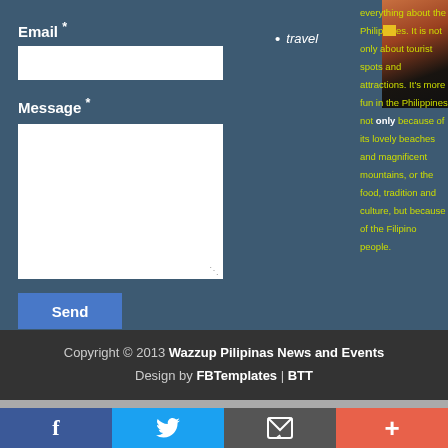Email *
Message *
Send
travel
[Figure (photo): Photo of Filipino food dishes on a table]
everything about the Philippines. It is not only about tourist spots and attractions. It's more fun in the Philippines not only because of its lovely beaches and magnificent mountains, or the food, tradition and culture, but because of the Filipino people.
Copyright © 2013 Wazzup Pilipinas News and Events Design by FBTemplates | BTT
[Figure (infographic): Social media bar with Facebook, Twitter, email, and plus buttons]